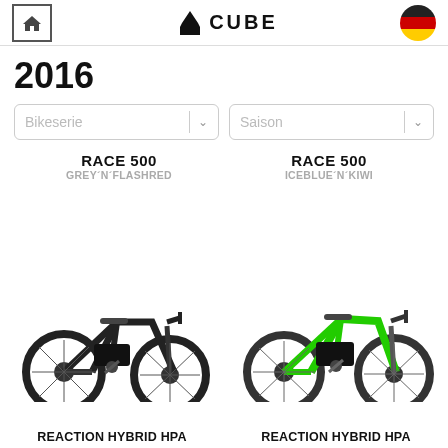CUBE — 2016 Bikeserie / Saison catalog page
2016
Bikeserie [dropdown] Saison [dropdown]
RACE 500 / GREY´N´FLASHRED
RACE 500 / ICEBLUE´N´KIWI
[Figure (photo): Black CUBE RACE 500 GREY´N´FLASHRED electric mountain bike, side view]
[Figure (photo): Green CUBE RACE 500 ICEBLUE´N´KIWI electric mountain bike, side view]
REACTION HYBRID HPA
REACTION HYBRID HPA